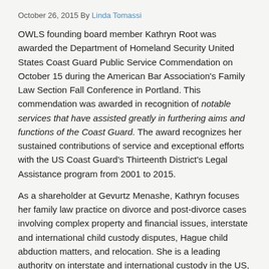October 26, 2015 By Linda Tomassi
OWLS founding board member Kathryn Root was awarded the Department of Homeland Security United States Coast Guard Public Service Commendation on October 15 during the American Bar Association's Family Law Section Fall Conference in Portland. This commendation was awarded in recognition of notable services that have assisted greatly in furthering aims and functions of the Coast Guard. The award recognizes her sustained contributions of service and exceptional efforts with the US Coast Guard's Thirteenth District's Legal Assistance program from 2001 to 2015.
As a shareholder at Gevurtz Menashe, Kathryn focuses her family law practice on divorce and post-divorce cases involving complex property and financial issues, interstate and international child custody disputes, Hague child abduction matters, and relocation. She is a leading authority on interstate and international custody in the US, having handled more than 100 contested interstate custody cases. Kathryn also litigated the first petition filed in the United States District Court for Oregon under the Hague Convention in 1997, and she is highly knowledgeable about international divorce and child custody disputes.
Kathryn has a long record of volunteer service in a variety of contexts.